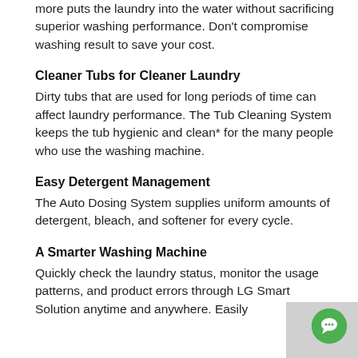more puts the laundry into the water without sacrificing superior washing performance. Don't compromise washing result to save your cost.
Cleaner Tubs for Cleaner Laundry
Dirty tubs that are used for long periods of time can affect laundry performance. The Tub Cleaning System keeps the tub hygienic and clean* for the many people who use the washing machine.
Easy Detergent Management
The Auto Dosing System supplies uniform amounts of detergent, bleach, and softener for every cycle.
A Smarter Washing Machine
Quickly check the laundry status, monitor the usage patterns, and product errors through LG Smart Solution anytime and anywhere. Easily